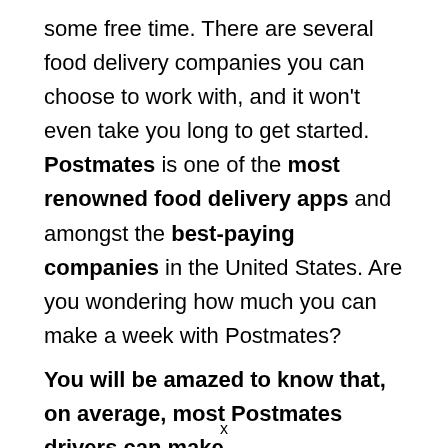some free time. There are several food delivery companies you can choose to work with, and it won't even take you long to get started. Postmates is one of the most renowned food delivery apps and amongst the best-paying companies in the United States. Are you wondering how much you can make a week with Postmates?
You will be amazed to know that, on average, most Postmates drivers can make
x